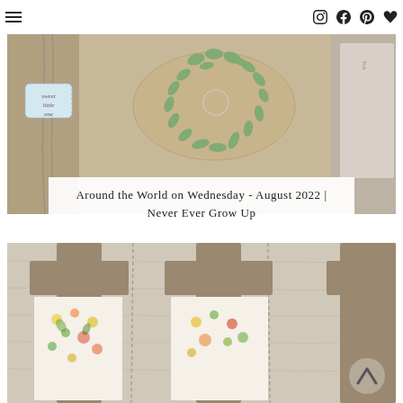Navigation header with hamburger menu and social icons (Instagram, Facebook, Pinterest, Heart/Favorite)
[Figure (photo): Close-up photo of a handmade craft card with green leaf die-cuts arranged in a wreath on kraft paper, a blue tag label reading 'sweet little one', and partial view of another card. Overlaid with a white semi-transparent box containing the article title.]
Around the World on Wednesday - August 2022 | Never Ever Grow Up
[Figure (photo): Close-up photo of rustic wooden letter-shaped frames or holders on a light wood background, with colorful floral patterned paper cards inside them. A scroll-up arrow button is visible in the bottom right corner.]